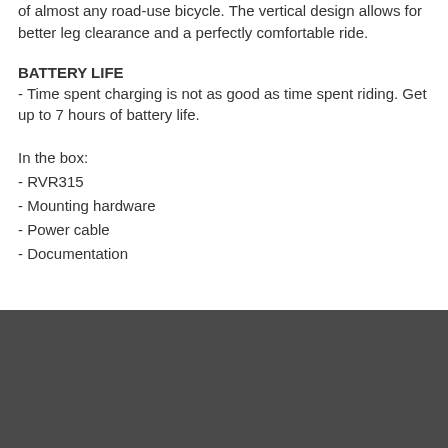of almost any road-use bicycle. The vertical design allows for better leg clearance and a perfectly comfortable ride.
BATTERY LIFE
- Time spent charging is not as good as time spent riding. Get up to 7 hours of battery life.
In the box:
- RVR315
- Mounting hardware
- Power cable
- Documentation
[Figure (logo): Green Lizard Cycling logo — circular badge with green lizard head illustration and text 'GREEN LIZARD CYCLING' around the edge on a dark background]
[Figure (other): Back to top button — dark square with upward pointing chevron/caret arrow in white]